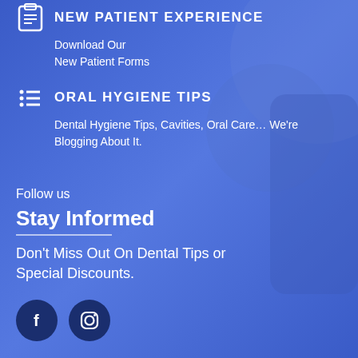NEW PATIENT EXPERIENCE
Download Our
New Patient Forms
ORAL HYGIENE TIPS
Dental Hygiene Tips, Cavities, Oral Care… We're Blogging About It.
Follow us
Stay Informed
Don't Miss Out On Dental Tips or Special Discounts.
[Figure (illustration): Social media icons: Facebook (f) and Instagram camera logo in dark navy circles]